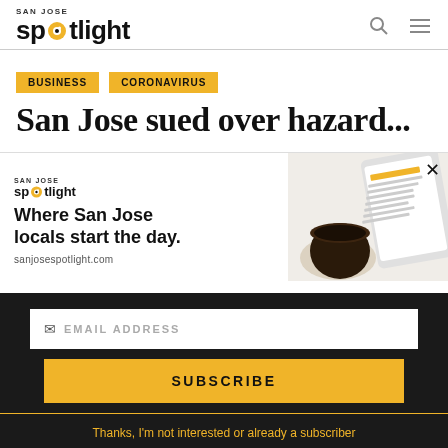SAN JOSE spotlight
BUSINESS
CORONAVIRUS
San Jose sued over hazard...
[Figure (screenshot): San Jose Spotlight advertisement overlay showing logo, headline 'Where San Jose locals start the day.' and sanjosespotlight.com URL, with tablet image on right side. Has X close button.]
EMAIL ADDRESS
SUBSCRIBE
Thanks, I'm not interested or already a subscriber